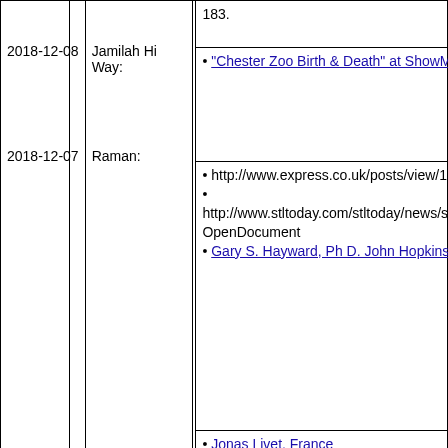| Date | Name | References |
| --- | --- | --- |
|  |  | 183. |
| 2018-12-08 | Jamilah Hi Way: | • "Chester Zoo Birth & Death" at ShowMe Elephants |
| 2018-12-07 | Raman: | • http://www.express.co.uk/posts/view/141699/Virus-kills-young-elephant
• http://www.stltoday.com/stltoday/news/stories.nsf/sciencemedicine/story/88530D51197EBAED862576880009E5D3?OpenDocument
• Gary S. Hayward, Ph D. John Hopkins School of Medicine, Baltimore, Maryland, U.S.A. |
|  |  | • Jonas Livet, France
• http://www.chesterzoo.org/animals/mammals/elephants/asian-elephants
• https://www.chesterzoo.org |